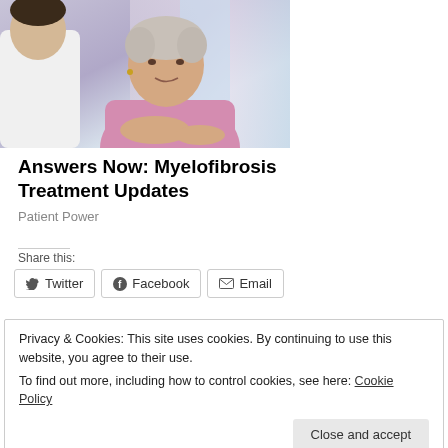[Figure (photo): An elderly woman in a pink top appears to be speaking with a healthcare professional (partially visible in white coat), in a clinical or consultation setting.]
Answers Now: Myelofibrosis Treatment Updates
Patient Power
Share this:
Twitter  Facebook  Email
Privacy & Cookies: This site uses cookies. By continuing to use this website, you agree to their use.
To find out more, including how to control cookies, see here: Cookie Policy
Close and accept